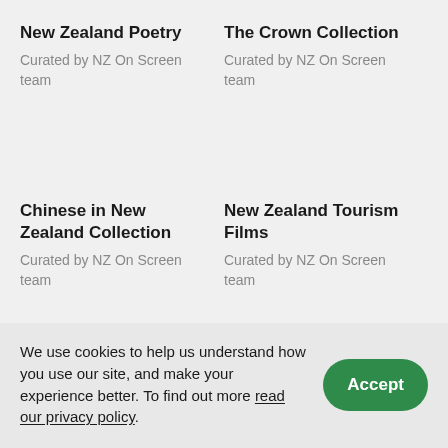New Zealand Poetry
Curated by NZ On Screen team
The Crown Collection
Curated by NZ On Screen team
Chinese in New Zealand Collection
Curated by NZ On Screen team
New Zealand Tourism Films
Curated by NZ On Screen team
We use cookies to help us understand how you use our site, and make your experience better. To find out more read our privacy policy.